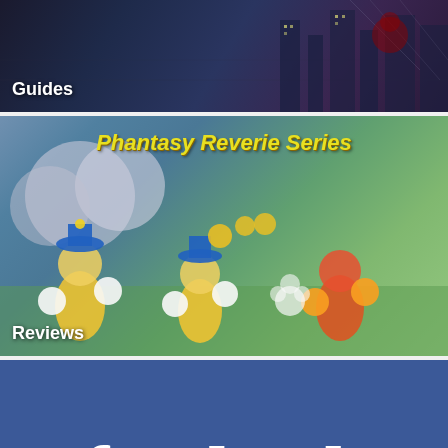[Figure (screenshot): Guides banner with dark superhero/action game background and 'Guides' label]
Guides
[Figure (screenshot): Phantasy Reverie Series banner with colorful cartoon characters and 'Reviews' label]
Phantasy Reverie Series
Reviews
[Figure (screenshot): Facebook logo on blue background with 'Technology' label]
Technology
Related Stories
PS Now In April 2021 Adds Marvel's Avengers and More